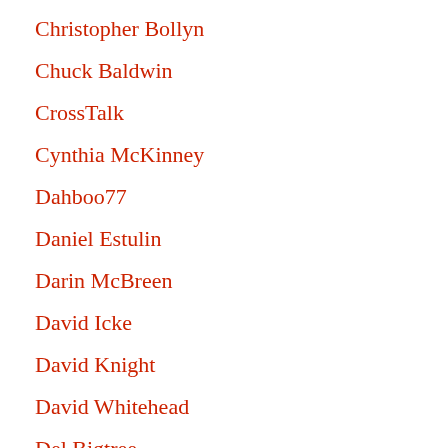Christopher Bollyn
Chuck Baldwin
CrossTalk
Cynthia McKinney
Dahboo77
Daniel Estulin
Darin McBreen
David Icke
David Knight
David Whitehead
Del Bigtree
Dieudonné